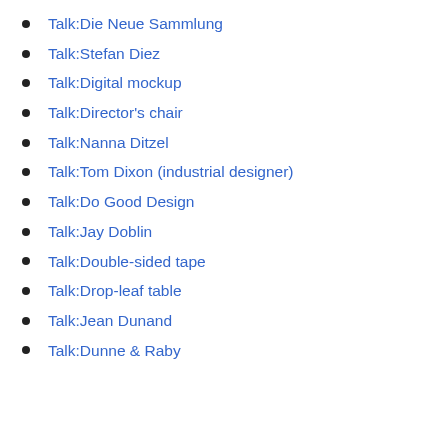Talk:Die Neue Sammlung
Talk:Stefan Diez
Talk:Digital mockup
Talk:Director's chair
Talk:Nanna Ditzel
Talk:Tom Dixon (industrial designer)
Talk:Do Good Design
Talk:Jay Doblin
Talk:Double-sided tape
Talk:Drop-leaf table
Talk:Jean Dunand
Talk:Dunne & Raby